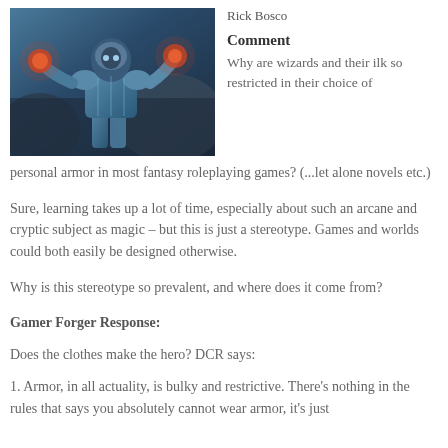[Figure (photo): Fantasy character in blue armor with glowing hands, set against a rocky background]
Rick Bosco
Comment
Why are wizards and their ilk so restricted in their choice of personal armor in most fantasy roleplaying games? (...let alone novels etc.)
Sure, learning takes up a lot of time, especially about such an arcane and cryptic subject as magic – but this is just a stereotype. Games and worlds could both easily be designed otherwise.
Why is this stereotype so prevalent, and where does it come from?
Gamer Forger Response:
Does the clothes make the hero? DCR says:
1. Armor, in all actuality, is bulky and restrictive. There's nothing in the rules that says you absolutely cannot wear armor, it's just